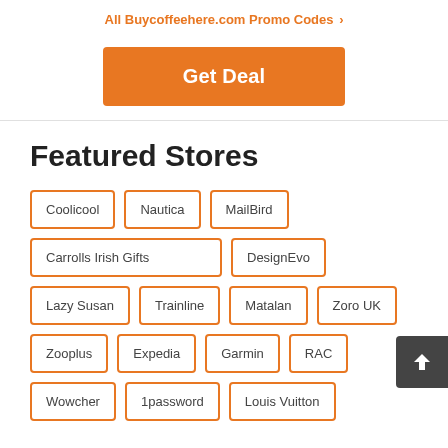All Buycoffeehere.com Promo Codes >
Get Deal
Featured Stores
Coolicool
Nautica
MailBird
Carrolls Irish Gifts
DesignEvo
Lazy Susan
Trainline
Matalan
Zoro UK
Zooplus
Expedia
Garmin
RAC
Wowcher
1password
Louis Vuitton